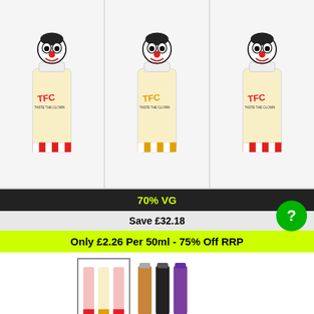[Figure (photo): Three Fog Clown e-liquid bottles with clown mascot branding shown side by side]
70% VG
Save £32.18
Only £2.26 Per 50ml - 75% Off RRP
[Figure (photo): Two thumbnail product images of The Fog Clown e-liquid bottles]
3 X 50ml The Fog Clown High VG E Liquids
BRAND: THE FOG CLOWN
This Product Has 4 Reviews (See All)